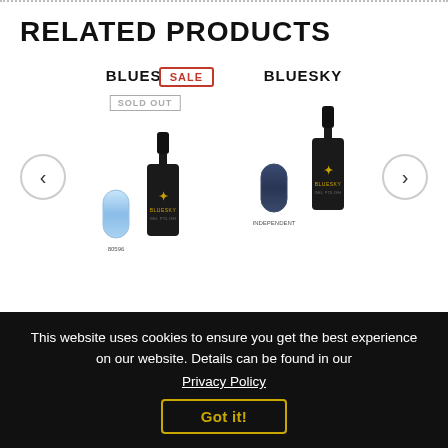RELATED PRODUCTS
[Figure (screenshot): E-commerce product carousel showing two Bluesky gel nail polish products. Left product shows a light blue nail swatch (80596) and a black Bluesky gel polish bottle; it has a SALE badge and SOLD OUT overlay. Right product shows a dark navy nail swatch (INDEPENDENT) and a black Bluesky gel polish bottle. Navigation arrows on left and right sides.]
This website uses cookies to ensure you get the best experience on our website. Details can be found in our
Privacy Policy
Got it!